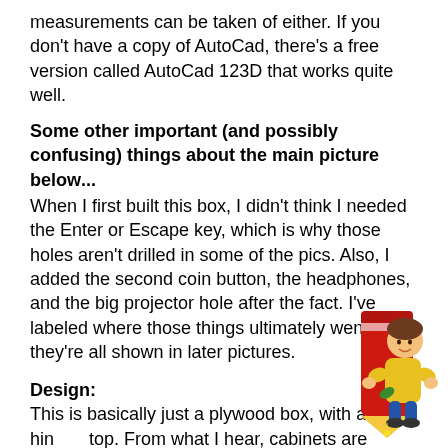measurements can be taken of either.  If you don't have a copy of AutoCad, there's a free version called AutoCad 123D that works quite well.
Some other important (and possibly confusing) things about the main picture below...
When I first built this box, I didn't think I needed the Enter or Escape key, which is why those holes aren't drilled in some of the pics.  Also, I added the second coin button, the headphones, and the big projector hole after the fact.  I've labeled where those things ultimately went, and they're all shown in later pictures.
Design:
This is basically just a plywood box, with a hinged top.  From what I hear, cabinets are normally built so that the bottom piece fits inside.  I think this is so there are no plywood edges showing on the front, sides, and back, but I don't understand it because
[Figure (illustration): Cartoon illustration of a child hugging a large red pencil]